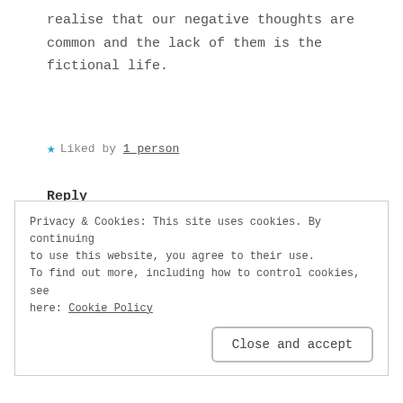realise that our negative thoughts are common and the lack of them is the fictional life.
★ Liked by 1 person
Reply
adventuresofabusymomcom
JULY 8, 2017 AT 7:42 AM
Privacy & Cookies: This site uses cookies. By continuing to use this website, you agree to their use.
To find out more, including how to control cookies, see here: Cookie Policy
Close and accept